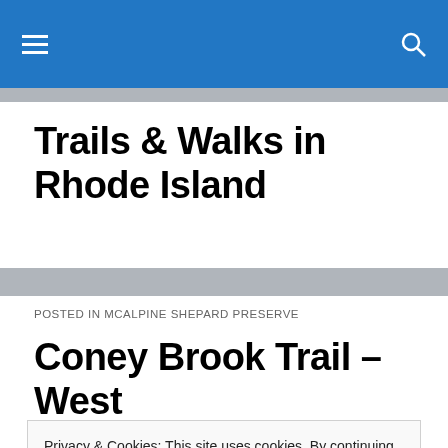≡  🔍
Trails & Walks in Rhode Island
POSTED IN MCALPINE SHEPARD PRESERVE
Coney Brook Trail – West Greenwich
Privacy & Cookies: This site uses cookies. By continuing to use this website, you agree to their use.
To find out more, including how to control cookies, see here: Cookie Policy
Close and accept